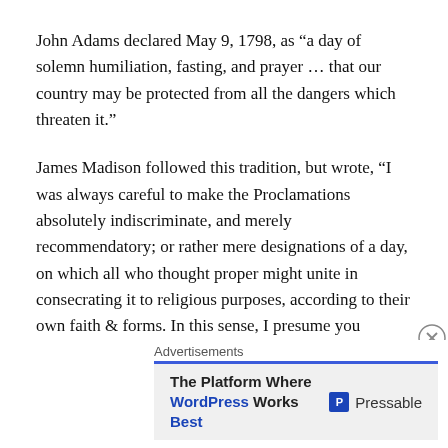John Adams declared May 9, 1798, as “a day of solemn humiliation, fasting, and prayer … that our country may be protected from all the dangers which threaten it.”
James Madison followed this tradition, but wrote, “I was always careful to make the Proclamations absolutely indiscriminate, and merely recommendatory; or rather mere designations of a day, on which all who thought proper might unite in consecrating it to religious purposes, according to their own faith & forms. In this sense, I presume you reserve to the Govt. a right to appoint particular days for religious worship throughout the State.
Advertisements
[Figure (other): Advertisement banner: The Platform Where WordPress Works Best — Pressable]